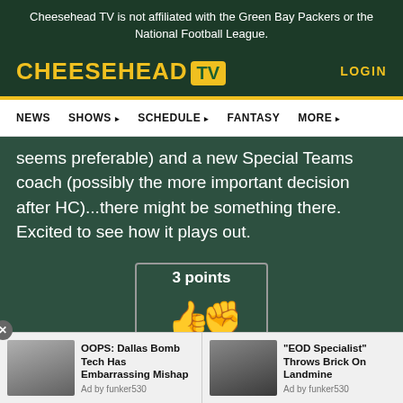Cheesehead TV is not affiliated with the Green Bay Packers or the National Football League.
[Figure (logo): Cheesehead TV logo with yellow text and TV icon]
LOGIN
NEWS  SHOWS  SCHEDULE  FANTASY  MORE
seems preferable) and a new Special Teams coach (possibly the more important decision after HC)...there might be something there. Excited to see how it plays out.
3 points
[Figure (illustration): Thumbs up and fist bump emoji icons in yellow/gold]
OOPS: Dallas Bomb Tech Has Embarrassing Mishap
Ad by funker530
"EOD Specialist" Throws Brick On Landmine
Ad by funker530